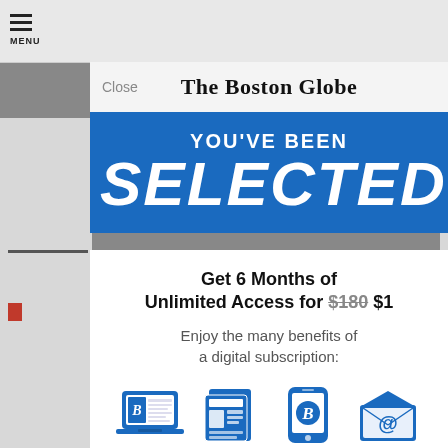The Boston Globe
YOU'VE BEEN SELECTED
Get 6 Months of Unlimited Access for $180 $1
Enjoy the many benefits of a digital subscription:
[Figure (infographic): Four blue icons representing subscription benefits: Website (laptop with Boston Globe logo), E-Paper (newspaper), App (smartphone with B logo), Newsletters (envelope with @ symbol). Labels below each icon read WEBSITE, E-PAPER, APP, NEWSLETTERS.]